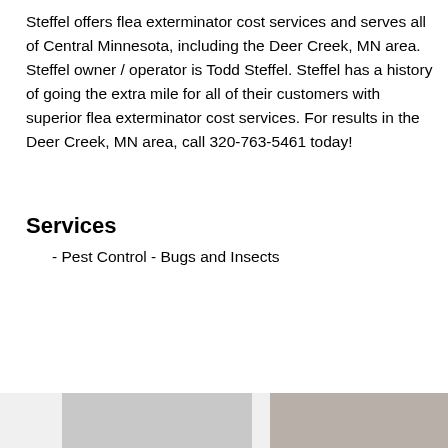Steffel offers flea exterminator cost services and serves all of Central Minnesota, including the Deer Creek, MN area. Steffel owner / operator is Todd Steffel. Steffel has a history of going the extra mile for all of their customers with superior flea exterminator cost services. For results in the Deer Creek, MN area, call 320-763-5461 today!
Services
- Pest Control - Bugs and Insects
[Figure (photo): Partial images visible at bottom of page, two side-by-side photos cropped at bottom edge]